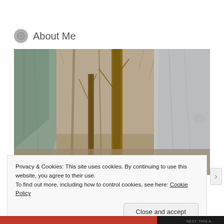About Me
[Figure (photo): Outdoor nature photograph showing tree trunks and rocks in a wooded setting, taken in late autumn or winter with bare branches visible]
Privacy & Cookies: This site uses cookies. By continuing to use this website, you agree to their use.
To find out more, including how to control cookies, see here: Cookie Policy
Close and accept